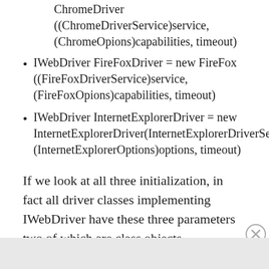ChromeDriver ((ChromeDriverService)service, (ChromeOpions)capabilities, timeout)
IWebDriver FireFoxDriver = new FireFox ((FireFoxDriverService)service, (FireFoxOpions)capabilities, timeout)
IWebDriver InternetExplorerDriver = new InternetExplorerDriver(InternetExplorerDriverService) (InternetExplorerOptions)options, timeout)
If we look at all three initialization, in fact all driver classes implementing IWebDriver have these three parameters two of which are class objects.
Advertisements